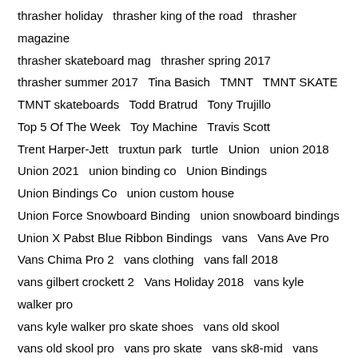thrasher holiday   thrasher king of the road   thrasher magazine
thrasher skateboard mag   thrasher spring 2017
thrasher summer 2017   Tina Basich   TMNT   TMNT SKATE
TMNT skateboards   Todd Bratrud   Tony Trujillo
Top 5 Of The Week   Toy Machine   Travis Scott
Trent Harper-Jett   truxtun park   turtle   Union   union 2018
Union 2021   union binding co   Union Bindings
Union Bindings Co   union custom house
Union Force Snowboard Binding   union snowboard bindings
Union X Pabst Blue Ribbon Bindings   vans   Vans Ave Pro
Vans Chima Pro 2   vans clothing   vans fall 2018
vans gilbert crockett 2   Vans Holiday 2018   vans kyle walker pro
vans kyle walker pro skate shoes   vans old skool
vans old skool pro   vans pro skate   vans sk8-mid   vans skate
vans skate shoes   Vans slip on pro   Vans Spring 2018